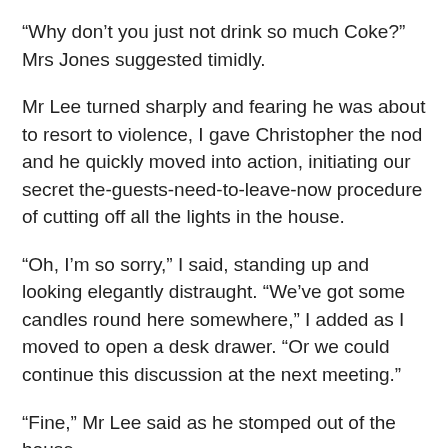“Why don’t you just not drink so much Coke?” Mrs Jones suggested timidly.
Mr Lee turned sharply and fearing he was about to resort to violence, I gave Christopher the nod and he quickly moved into action, initiating our secret the-guests-need-to-leave-now procedure of cutting off all the lights in the house.
“Oh, I’m so sorry,” I said, standing up and looking elegantly distraught. “We’ve got some candles round here somewhere,” I added as I moved to open a desk drawer. “Or we could continue this discussion at the next meeting.”
“Fine,” Mr Lee said as he stomped out of the house.
The other guests gathered up their things and started to leave.